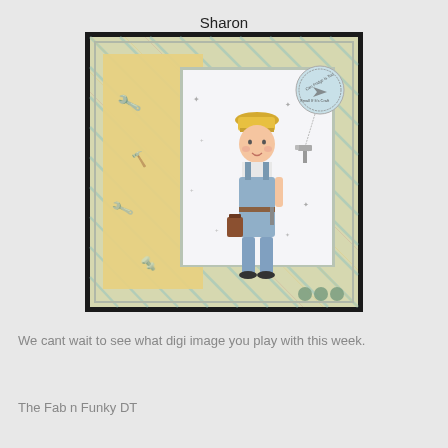Sharon
[Figure (photo): A handmade craft card featuring a cartoon boy wearing a yellow hard hat and blue overalls, holding a toolbox, set against plaid scrapbook paper with yellow embossed panel. A circular stamp and small hammer charm are visible on the card, along with three green button embellishments at the bottom.]
We cant wait to see what digi image you play with this week.
The Fab n Funky DT